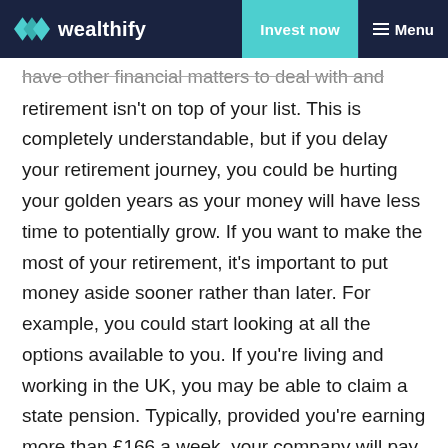wealthify | Invest now | Menu
have other financial matters to deal with and retirement isn't on top of your list. This is completely understandable, but if you delay your retirement journey, you could be hurting your golden years as your money will have less time to potentially grow. If you want to make the most of your retirement, it's important to put money aside sooner rather than later. For example, you could start looking at all the options available to you. If you're living and working in the UK, you may be able to claim a state pension. Typically, provided you're earning more than £166 a week, your company will pay in your national insurance contributions out of your salary. One thing to keep in mind though is